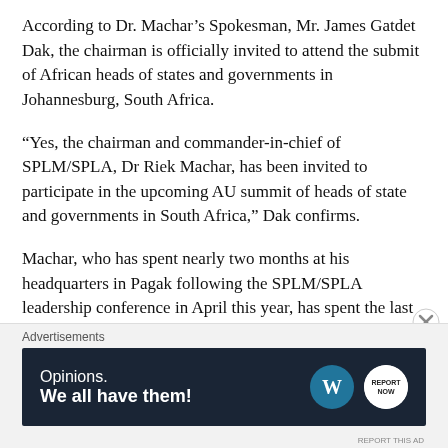According to Dr. Machar's Spokesman, Mr. James Gatdet Dak, the chairman is officially invited to attend the submit of African heads of states and governments in Johannesburg, South Africa.
“Yes, the chairman and commander-in-chief of SPLM/SPLA, Dr Riek Machar, has been invited to participate in the upcoming AU summit of heads of state and governments in South Africa,” Dak confirms.
Machar, who has spent nearly two months at his headquarters in Pagak following the SPLM/SPLA leadership conference in April this year, has spent the last three days in Addis Ababa, Ethiopia.
[Figure (other): Advertisement banner: 'Opinions. We all have them!' with WordPress and Report Now logos on dark navy background.]